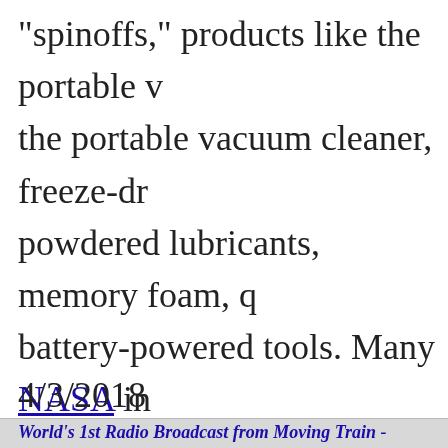"spinoffs," products like the portable vacuum cleaner, freeze-dried powdered lubricants, memory foam, battery-powered tools. Many NASA inventions have found an application in your basement because their purpose is too specialized the ZeRT, or Zero Reaction Tool ...
4/3/2018
World's 1st Radio Broadcast from Moving Train -